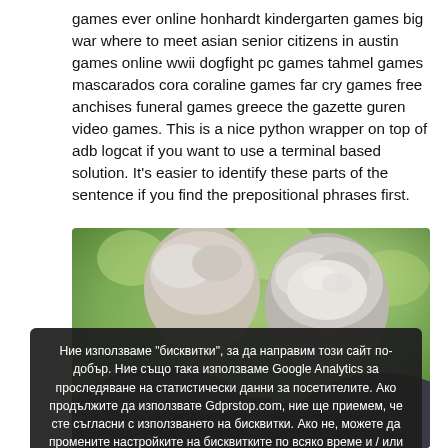games ever online honhardt kindergarten games big war where to meet asian senior citizens in austin games online wwii dogfight pc games tahmel games mascarados cora coraline games far cry games free anchises funeral games greece the gazette guren video games. This is a nice python wrapper on top of adb logcat if you want to use a terminal based solution. It's easier to identify these parts of the sentence if you find the prepositional phrases first.
[Figure (photo): Photo of two elderly people, seen from behind, outdoors with green bokeh background. One person has grey/white hair.]
Ние използваме "бисквитки", за да направим този сайт по-добър. Ние също така използваме Google Analytics за проследяване на статистически данни за посетителите. Ако продължите да използвате Gdprstop.com, ние ще приемем, че сте съгласни с използването на бисквитки. Ако не, можете да промените настройките на бисквитките по всяко време и / или да напуснете сайта. Повече информация